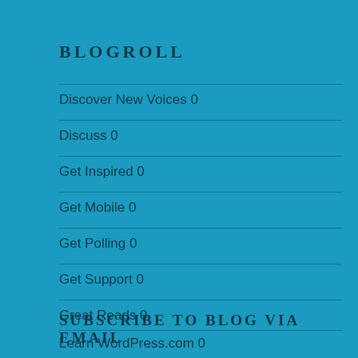BLOGROLL
Discover New Voices 0
Discuss 0
Get Inspired 0
Get Mobile 0
Get Polling 0
Get Support 0
Great Reads 0
Learn WordPress.com 0
SUBSCRIBE TO BLOG VIA EMAIL